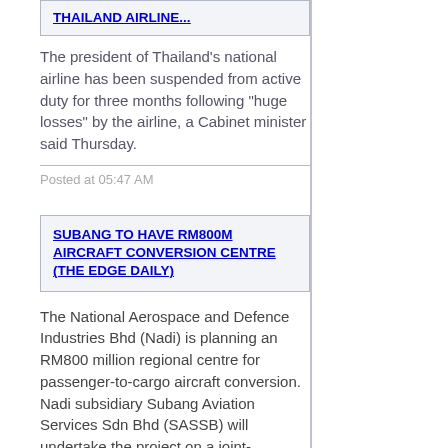THAILAND AIRLINE (truncated/link at top)
The president of Thailand's national airline has been suspended from active duty for three months following "huge losses" by the airline, a Cabinet minister said Thursday.
Posted at 05:47 AM
SUBANG TO HAVE RM800M AIRCRAFT CONVERSION CENTRE (THE EDGE DAILY)
The National Aerospace and Defence Industries Bhd (Nadi) is planning an RM800 million regional centre for passenger-to-cargo aircraft conversion. Nadi subsidiary Subang Aviation Services Sdn Bhd (SASSB) will undertake the project on a joint-